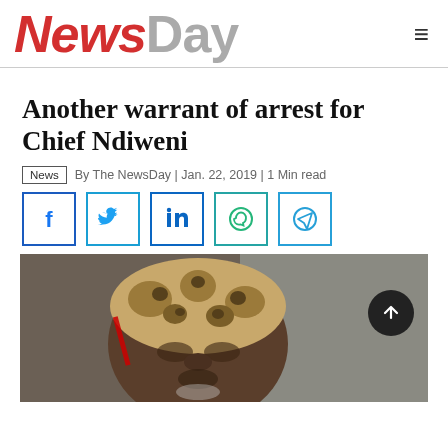NewsDay
Another warrant of arrest for Chief Ndiweni
News | By The NewsDay | Jan. 22, 2019 | 1 Min read
[Figure (illustration): Social media share buttons: Facebook, Twitter, LinkedIn, WhatsApp, Telegram]
[Figure (photo): Photo of Chief Ndiweni wearing a leopard-skin hat, looking upward, close-up portrait]